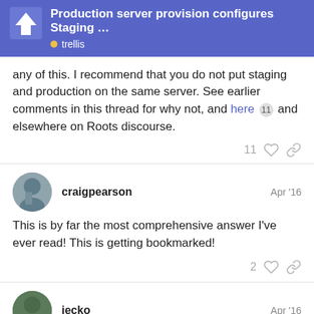Production server provision configures Staging … • trellis
any of this. I recommend that you do not put staging and production on the same server. See earlier comments in this thread for why not, and here [11] and elsewhere on Roots discourse.
11 ♡ 🔗
craigpearson   Apr '16
This is by far the most comprehensive answer I've ever read! This is getting bookmarked!
2 ♡ 🔗
jecko   Apr '16
Thank you for this most detailed answer here